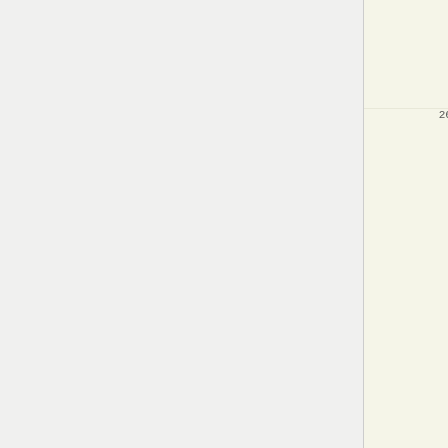[Figure (screenshot): Source code viewer showing C++ code lines 267-290 with line numbers in a beige gutter and code in white area. Lines 273-284 are highlighted in yellow. Code shows graph iterator template methods including get_invalid, first, valid, and getNext functions.]